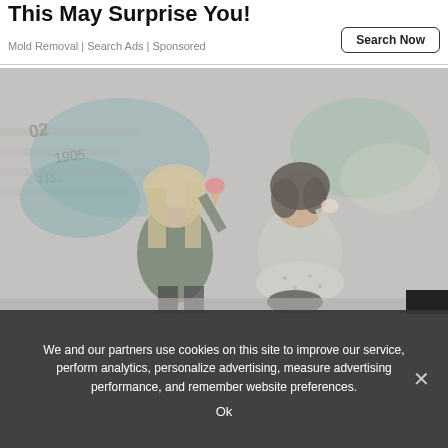This May Surprise You!
Mold Removal | Search Ads | Sponsored
Search Now
[Figure (photo): Two young women sitting against a graffiti wall outdoors, one with blonde hair holding an ice cream cone, the other with dark curly hair eating something. The image has a washed-out, muted tone.]
We and our partners use cookies on this site to improve our service, perform analytics, personalize advertising, measure advertising performance, and remember website preferences.
Ok